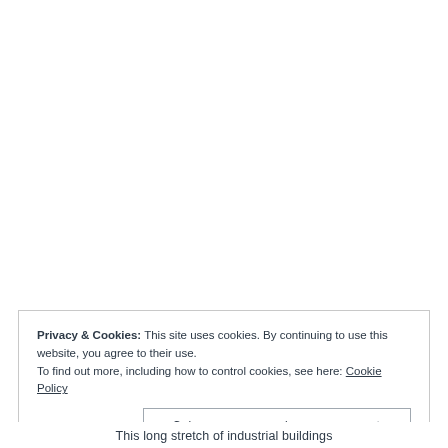Privacy & Cookies: This site uses cookies. By continuing to use this website, you agree to their use.
To find out more, including how to control cookies, see here: Cookie Policy
Close and accept
This long stretch of industrial buildings